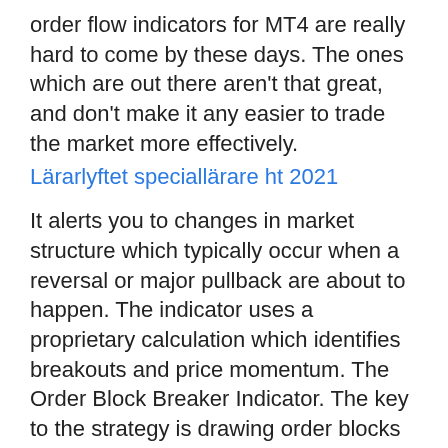order flow indicators for MT4 are really hard to come by these days. The ones which are out there aren't that great, and don't make it any easier to trade the market more effectively.
Lärarlyftet speciallärare ht 2021
It alerts you to changes in market structure which typically occur when a reversal or major pullback are about to happen. The indicator uses a proprietary calculation which identifies breakouts and price momentum. The Order Block Breaker Indicator. The key to the strategy is drawing order blocks and monitoring when they are broken. The indicator draws the order blocks and breakers for you, then sends you an alert so you can take a look at your charts and see if there is a valid reason to enter a trade. Find out more.